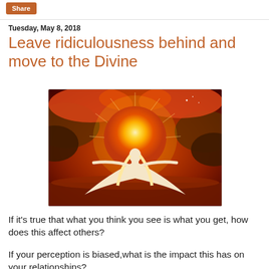Share
Tuesday, May 8, 2018
Leave ridiculousness behind and move to the Divine
[Figure (illustration): Spiritual illustration of a figure with arms outstretched toward a large glowing sun surrounded by dramatic orange and golden clouds]
If it's true that what you think you see is what you get, how does this affect others?
If your perception is biased,what is the impact this has on your relationships?